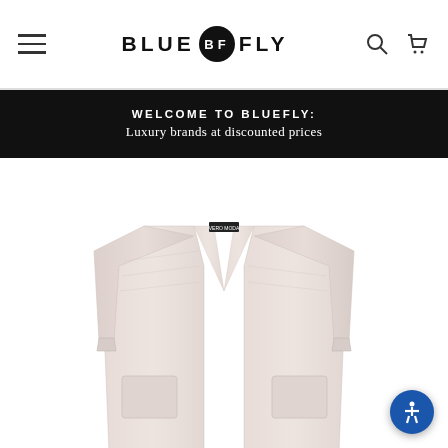BLUE FLY — navigation header with hamburger menu, logo, search and cart icons
WELCOME TO BLUEFLY: Luxury brands at discounted prices
[Figure (photo): Long open-front light pink/blush knit cardigan displayed on white background. The long cardigan has two front patch pockets, V-neckline, and long sleeves. A small dark label tag is visible at the neckline.]